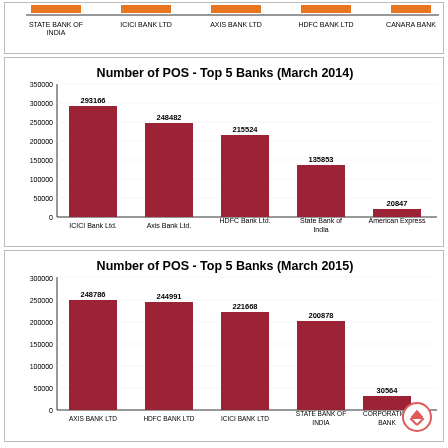[Figure (bar-chart): Number of POS - Top 5 Banks (March 2014)]
[Figure (bar-chart): Number of POS - Top 5 Banks (March 2015)]